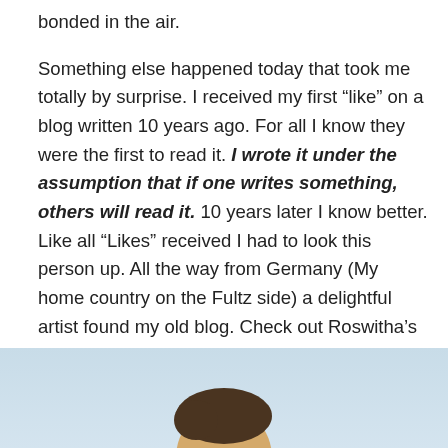bonded in the air.
Something else happened today that took me totally by surprise. I received my first “like” on a blog written 10 years ago. For all I know they were the first to read it. I wrote it under the assumption that if one writes something, others will read it. 10 years later I know better. Like all “Likes” received I had to look this person up. All the way from Germany (My home country on the Fultz side) a delightful artist found my old blog. Check out Roswitha’s delightful painting-artists blog depicting a modern day Emmaus walk after Easter click here. It’s worth it. I wonder if Roswitha is related distantly to several of my Geisler friends in northern Minnesota?
[Figure (photo): Partial photo showing the top of a person's head against a light blue background, visible at the bottom of the page.]